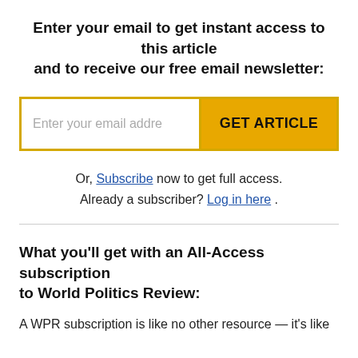Enter your email to get instant access to this article and to receive our free email newsletter:
[Figure (screenshot): Email input field with placeholder 'Enter your email addre' and a yellow 'GET ARTICLE' button]
Or, Subscribe now to get full access. Already a subscriber? Log in here .
What you’ll get with an All-Access subscription to World Politics Review:
A WPR subscription is like no other resource — it’s like